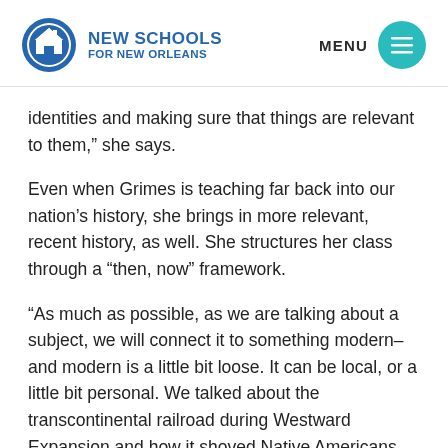NEW SCHOOLS FOR NEW ORLEANS | MENU
identities and making sure that things are relevant to them,” she says.
Even when Grimes is teaching far back into our nation’s history, she brings in more relevant, recent history, as well. She structures her class through a “then, now” framework.
“As much as possible, as we are talking about a subject, we will connect it to something modern–and modern is a little bit loose. It can be local, or a little bit personal. We talked about the transcontinental railroad during Westward Expansion and how it shoved Native Americans off of their land, and then we looked at the interstate